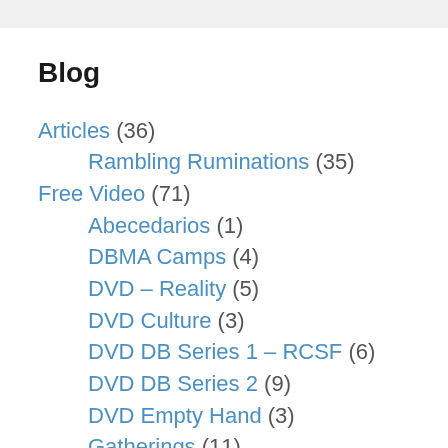Blog
Articles (36)
Rambling Ruminations (35)
Free Video (71)
Abecedarios (1)
DBMA Camps (4)
DVD – Reality (5)
DVD Culture (3)
DVD DB Series 1 – RCSF (6)
DVD DB Series 2 (9)
DVD Empty Hand (3)
Gatherings (11)